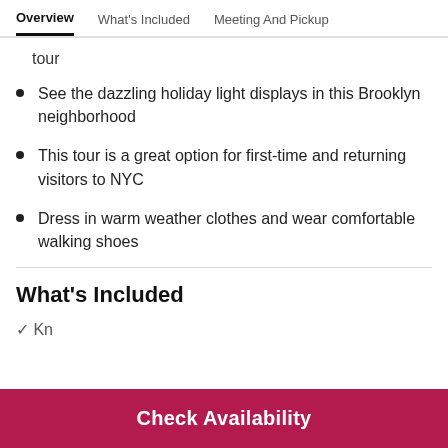Overview | What's Included | Meeting And Pickup
tour
See the dazzling holiday light displays in this Brooklyn neighborhood
This tour is a great option for first-time and returning visitors to NYC
Dress in warm weather clothes and wear comfortable walking shoes
What's Included
✓ Your kn...
Check Availability